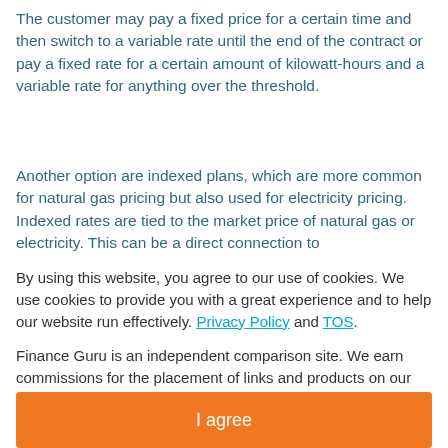The customer may pay a fixed price for a certain time and then switch to a variable rate until the end of the contract or pay a fixed rate for a certain amount of kilowatt-hours and a variable rate for anything over the threshold.
Another option are indexed plans, which are more common for natural gas pricing but also used for electricity pricing. Indexed rates are tied to the market price of natural gas or electricity. This can be a direct connection to
By using this website, you agree to our use of cookies. We use cookies to provide you with a great experience and to help our website run effectively. Privacy Policy and TOS.
Finance Guru is an independent comparison site. We earn commissions for the placement of links and products on our site.
I agree